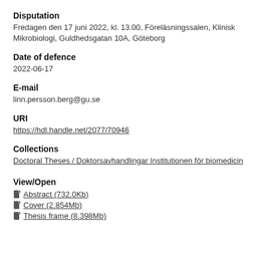Disputation
Fredagen den 17 juni 2022, kl. 13.00, Föreläsningssalen, Klinisk Mikrobiologi, Guldhedsgatan 10A, Göteborg
Date of defence
2022-06-17
E-mail
linn.persson.berg@gu.se
URI
https://hdl.handle.net/2077/70946
Collections
Doctoral Theses / Doktorsavhandlingar Institutionen för biomedicin
View/Open
Abstract (732.0Kb)
Cover (2.854Mb)
Thesis frame (8.398Mb)